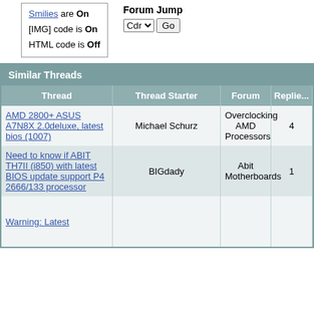Smilies are On
[IMG] code is On
HTML code is Off
Forum Jump
Cdr
Go
Similar Threads
| Thread | Thread Starter | Forum | Replie... |
| --- | --- | --- | --- |
| AMD 2800+ ASUS A7N8X 2.0deluxe, latest bios (1007) | Michael Schurz | Overclocking AMD Processors | 4 |
| Need to know if ABIT TH7II (i850) with latest BIOS update support P4 2666/133 processor | BIGdady | Abit Motherboards | 1 |
| Warning: Latest |  |  |  |